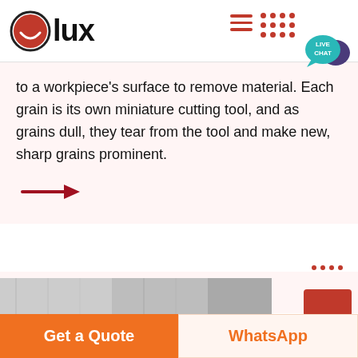[Figure (logo): Olux logo: red circle with white smiley face, followed by bold text 'lux']
to a workpiece's surface to remove material. Each grain is its own miniature cutting tool, and as grains dull, they tear from the tool and make new, sharp grains prominent.
[Figure (illustration): Dark red right-pointing arrow]
[Figure (photo): Partial photo of a machining/grinding workpiece]
Get a Quote
WhatsApp